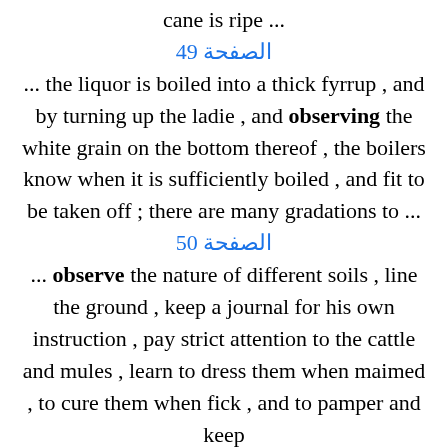cane is ripe ...
الصفحة 49
... the liquor is boiled into a thick fyrrup , and by turning up the ladie , and observing the white grain on the bottom thereof , the boilers know when it is sufficiently boiled , and fit to be taken off ; there are many gradations to ...
الصفحة 50
... observe the nature of different soils , line the ground , keep a journal for his own instruction , pay strict attention to the cattle and mules , learn to dress them when maimed , to cure them when fick , and to pamper and keep